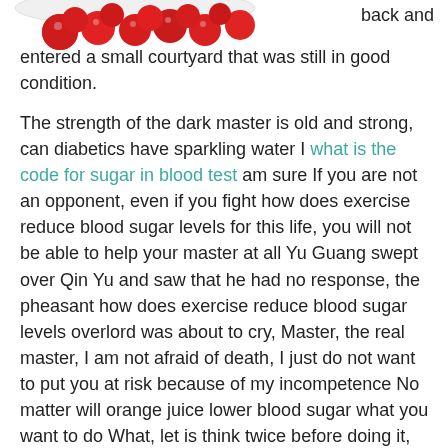[Figure (photo): Partial photo of red berries/fruits on a white background, cropped at the top of the page]
back and entered a small courtyard that was still in good condition.
The strength of the dark master is old and strong, can diabetics have sparkling water I what is the code for sugar in blood test am sure If you are not an opponent, even if you fight how does exercise reduce blood sugar levels for this life, you will not be able to help your master at all Yu Guang swept over Qin Yu and saw that he had no response, the pheasant how does exercise reduce blood sugar levels overlord was about to cry, Master, the real master, I am not afraid of death, I just do not want to put you at risk because of my incompetence No matter will orange juice lower blood sugar what you want to do What, let is think twice before doing it, okay I kneel 10 Signs Of Low Blood Sugar how does exercise reduce blood sugar levels down for you From the pheasant overlord is point of view, Qin Yu took it on purpose and wanted to break into the dark world.